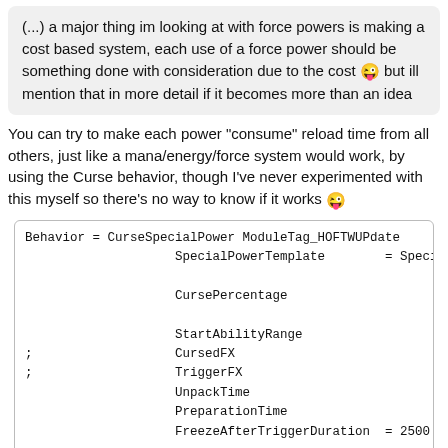(...) a major thing im looking at with force powers is making a cost based system, each use of a force power should be something done with consideration due to the cost 😜 but ill mention that in more detail if it becomes more than an idea
You can try to make each power "consume" reload time from all others, just like a mana/energy/force system would work, by using the Curse behavior, though I've never experimented with this myself so there's no way to know if it works 😜
Behavior = CurseSpecialPower ModuleTag_HOFTWUPdate
                    SpecialPowerTemplate        = SpecialAb

                    CursePercentage

                    StartAbilityRange                    = 2
;                   CursedFX
;                   TriggerFX
                    UnpackTime
                    PreparationTime
                    FreezeAfterTriggerDuration  = 2500

                    AffectAllies                         = Y
                    AttributeModifierRange        = 1
                    AttributeModifierAffects      = NONE +Yod
                    End